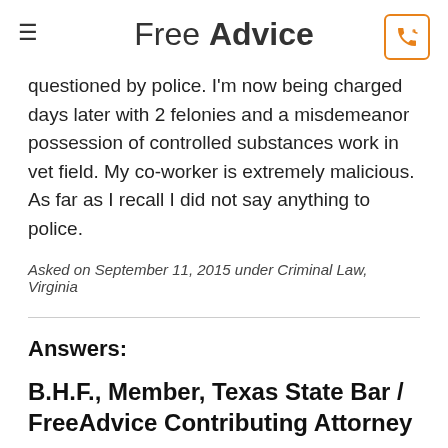Free Advice
questioned by police. I'm now being charged days later with 2 felonies and a misdemeanor possession of controlled substances work in vet field. My co-worker is extremely malicious. As far as I recall I did not say anything to police.
Asked on September 11, 2015 under Criminal Law, Virginia
Answers:
B.H.F., Member, Texas State Bar / FreeAdvice Contributing Attorney
Answered 6 years ago | Contributor